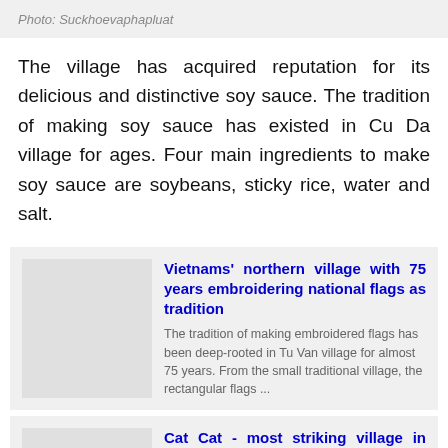Photo: Suckhoevaphapluat
The village has acquired reputation for its delicious and distinctive soy sauce. The tradition of making soy sauce has existed in Cu Da village for ages. Four main ingredients to make soy sauce are soybeans, sticky rice, water and salt.
Vietnams' northern village with 75 years embroidering national flags as tradition
The tradition of making embroidered flags has been deep-rooted in Tu Van village for almost 75 years. From the small traditional village, the rectangular flags ...
Cat Cat - most striking village in northwest of Vietnam
Cat Cat village is home to rustic wooden...